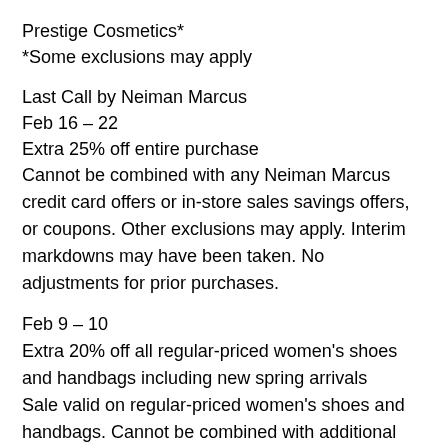Prestige Cosmetics*
*Some exclusions may apply
Last Call by Neiman Marcus
Feb 16 – 22
Extra 25% off entire purchase
Cannot be combined with any Neiman Marcus credit card offers or in-store sales savings offers, or coupons. Other exclusions may apply. Interim markdowns may have been taken. No adjustments for prior purchases.
Feb 9 – 10
Extra 20% off all regular-priced women's shoes and handbags including new spring arrivals
Sale valid on regular-priced women's shoes and handbags. Cannot be combined with additional sales, offers, coupons or promotions. Excludes Spot-On Savings